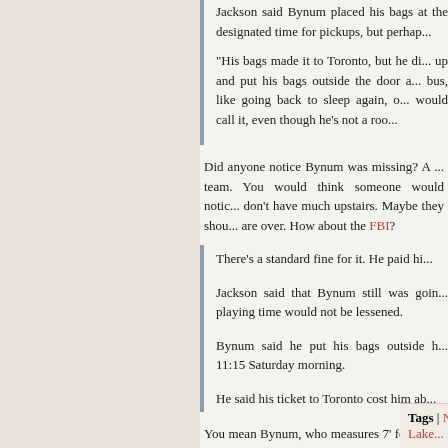Jackson said Bynum placed his bags at the designated time for pickups, but perhap...
“His bags made it to Toronto, but he di... up and put his bags outside the door ... bus, like going back to sleep again, or... would call it, even though he’s not a roo...
Did anyone notice Bynum was missing? A ... team. You would think someone would notic... don’t have much upstairs. Maybe they shou... are over. How about the FBI?
There’s a standard fine for it. He paid hi...
Jackson said that Bynum still was goin... playing time would not be lessened.
Bynum said he put his bags outside h... 11:15 Saturday morning.
He said his ticket to Toronto cost him ab...
You mean Bynum, who measures 7’ feet tall... paid for first class as his knees came up to hi...
“” Discussion (0)
Tags | NBA Bill Jempty, Los Angeles Lake...